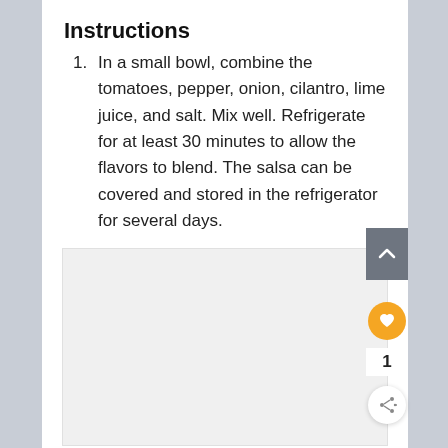Instructions
In a small bowl, combine the tomatoes, pepper, onion, cilantro, lime juice, and salt. Mix well. Refrigerate for at least 30 minutes to allow the flavors to blend. The salsa can be covered and stored in the refrigerator for several days.
[Figure (photo): Placeholder image area, light gray background]